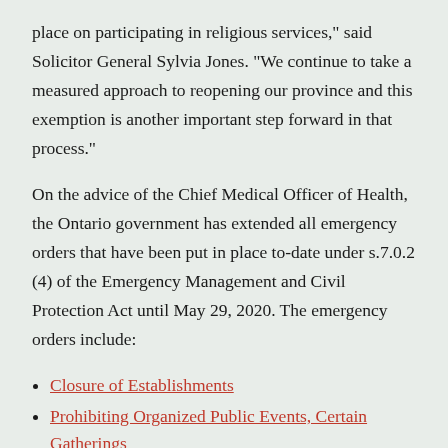place on participating in religious services," said Solicitor General Sylvia Jones. "We continue to take a measured approach to reopening our province and this exemption is another important step forward in that process."
On the advice of the Chief Medical Officer of Health, the Ontario government has extended all emergency orders that have been put in place to-date under s.7.0.2 (4) of the Emergency Management and Civil Protection Act until May 29, 2020. The emergency orders include:
Closure of Establishments
Prohibiting Organized Public Events, Certain Gatherings
Work Deployment Measures for Health Care Workers
Drinking Water Systems and Sewage Works
Electronic Service
Work Deployment Measures in Long-Term Care Homes